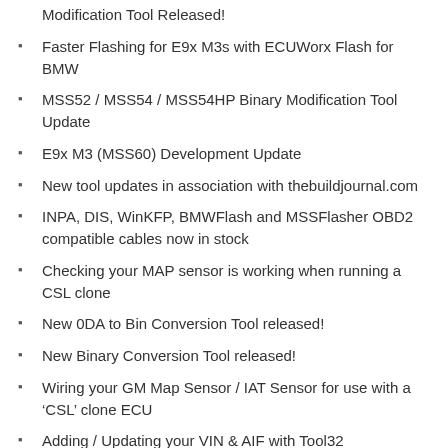Modification Tool Released!
Faster Flashing for E9x M3s with ECUWorx Flash for BMW
MSS52 / MSS54 / MSS54HP Binary Modification Tool Update
E9x M3 (MSS60) Development Update
New tool updates in association with thebuildjournal.com
INPA, DIS, WinKFP, BMWFlash and MSSFlasher OBD2 compatible cables now in stock
Checking your MAP sensor is working when running a CSL clone
New 0DA to Bin Conversion Tool released!
New Binary Conversion Tool released!
Wiring your GM Map Sensor / IAT Sensor for use with a ‘CSL’ clone ECU
Adding / Updating your VIN & AIF with Tool32